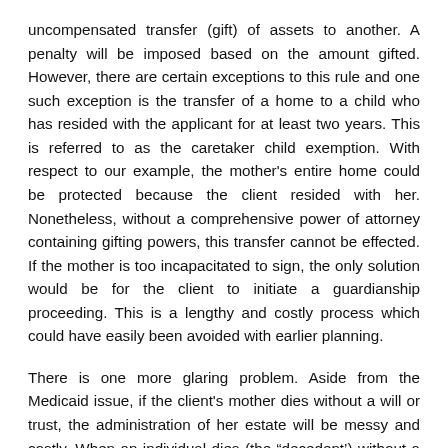uncompensated transfer (gift) of assets to another. A penalty will be imposed based on the amount gifted. However, there are certain exceptions to this rule and one such exception is the transfer of a home to a child who has resided with the applicant for at least two years. This is referred to as the caretaker child exemption. With respect to our example, the mother's entire home could be protected because the client resided with her. Nonetheless, without a comprehensive power of attorney containing gifting powers, this transfer cannot be effected. If the mother is too incapacitated to sign, the only solution would be for the client to initiate a guardianship proceeding. This is a lengthy and costly process which could have easily been avoided with earlier planning.
There is one more glaring problem. Aside from the Medicaid issue, if the client's mother dies without a will or trust, the administration of her estate will be messy and costly. When an individual dies (the “decedent’) without a will, state law dictates how the assets in the decedent's name should be distributed. The client's mother's house